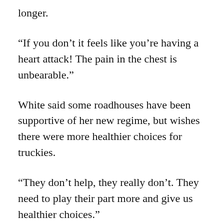longer.
“If you don’t it feels like you’re having a heart attack! The pain in the chest is unbearable.”
White said some roadhouses have been supportive of her new regime, but wishes there were more healthier choices for truckies.
“They don’t help, they really don’t. They need to play their part more and give us healthier choices.”
So what about the cost of a gastric bypass?
White paid for hers using her private health fund and offset the $7000 gap using the early release of super